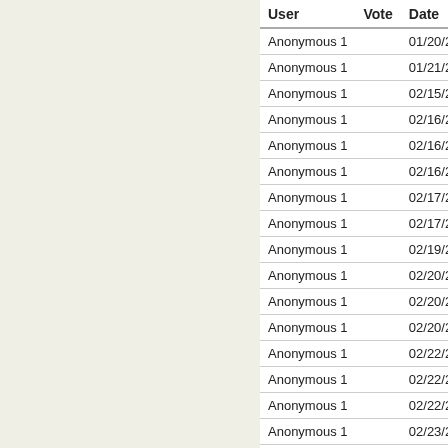| User | Vote | Date |
| --- | --- | --- |
| Anonymous 1 |  | 01/20/2019 - 0 |
| Anonymous 1 |  | 01/21/2019 - 0 |
| Anonymous 1 |  | 02/15/2019 - 1 |
| Anonymous 1 |  | 02/16/2019 - 0 |
| Anonymous 1 |  | 02/16/2019 - 1 |
| Anonymous 1 |  | 02/16/2019 - 2 |
| Anonymous 1 |  | 02/17/2019 - 1 |
| Anonymous 1 |  | 02/17/2019 - 2 |
| Anonymous 1 |  | 02/19/2019 - 1 |
| Anonymous 1 |  | 02/20/2019 - 0 |
| Anonymous 1 |  | 02/20/2019 - 0 |
| Anonymous 1 |  | 02/20/2019 - 0 |
| Anonymous 1 |  | 02/22/2019 - 1 |
| Anonymous 1 |  | 02/22/2019 - 1 |
| Anonymous 1 |  | 02/22/2019 - 2 |
| Anonymous 1 |  | 02/23/2019 - 2 |
| Anonymous 1 |  | 02/24/2019 - 0 |
| Anonymous 1 |  | 02/25/2019 - 0 |